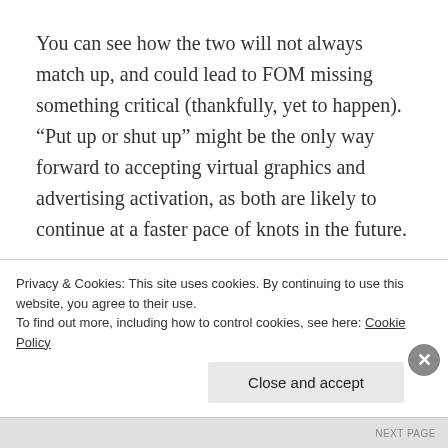You can see how the two will not always match up, and could lead to FOM missing something critical (thankfully, yet to happen). “Put up or shut up” might be the only way forward to accepting virtual graphics and advertising activation, as both are likely to continue at a faster pace of knots in the future.
Whilst Formula 1’s direction may be compromised slightly by virtual advertising, one thing that has improved vastly compared with previous seasons are the camera angles FOM have used.
Privacy & Cookies: This site uses cookies. By continuing to use this website, you agree to their use.
To find out more, including how to control cookies, see here: Cookie Policy
Close and accept